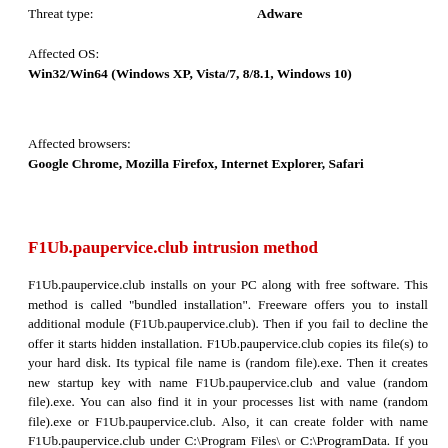Threat type:          Adware
Affected OS:
Win32/Win64 (Windows XP, Vista/7, 8/8.1, Windows 10)
Affected browsers:
Google Chrome, Mozilla Firefox, Internet Explorer, Safari
F1Ub.paupervice.club intrusion method
F1Ub.paupervice.club installs on your PC along with free software. This method is called "bundled installation". Freeware offers you to install additional module (F1Ub.paupervice.club). Then if you fail to decline the offer it starts hidden installation. F1Ub.paupervice.club copies its file(s) to your hard disk. Its typical file name is (random file).exe. Then it creates new startup key with name F1Ub.paupervice.club and value (random file).exe. You can also find it in your processes list with name (random file).exe or F1Ub.paupervice.club. Also, it can create folder with name F1Ub.paupervice.club under C:\Program Files\ or C:\ProgramData. If you have further questions about F1Ub.paupervice.club, please